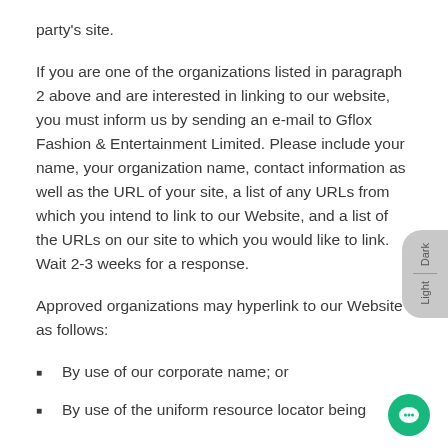party's site.
If you are one of the organizations listed in paragraph 2 above and are interested in linking to our website, you must inform us by sending an e-mail to Gflox Fashion & Entertainment Limited. Please include your name, your organization name, contact information as well as the URL of your site, a list of any URLs from which you intend to link to our Website, and a list of the URLs on our site to which you would like to link. Wait 2-3 weeks for a response.
Approved organizations may hyperlink to our Website as follows:
By use of our corporate name; or
By use of the uniform resource locator being